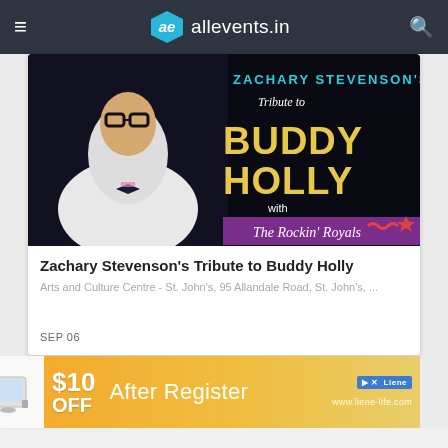allevents.in
[Figure (photo): Event poster for Zachary Stevenson's Tribute to Buddy Holly with The Rockin' Royals, showing a young man in a white jacket and bow tie with black glasses, against a dark background with gold text.]
Zachary Stevenson's Tribute to Buddy Holly
Arts and Culture Centre - St. John's, 95 Allandale Road, St. John's, ...
SEP 06
View all Upcoming Events
[Figure (photo): Advertisement banner: $10 OFF After Register - www.liene-life.com, with a photo product image on the left.]